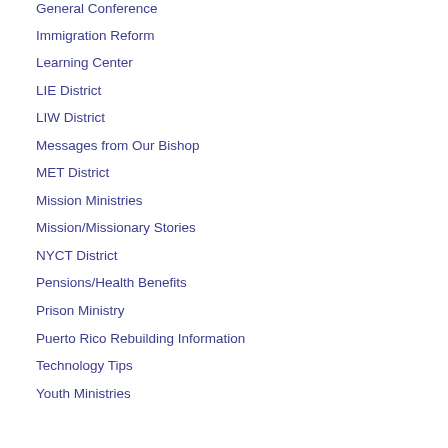General Conference
Immigration Reform
Learning Center
LIE District
LIW District
Messages from Our Bishop
MET District
Mission Ministries
Mission/Missionary Stories
NYCT District
Pensions/Health Benefits
Prison Ministry
Puerto Rico Rebuilding Information
Technology Tips
Youth Ministries